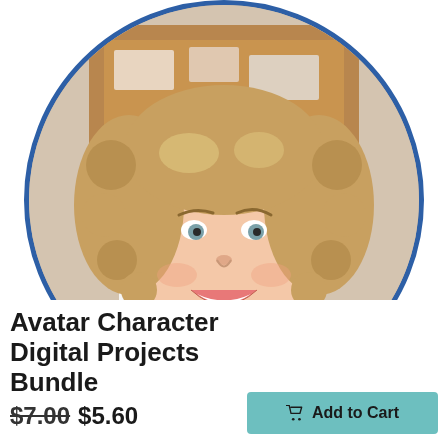[Figure (photo): Circular photo of a smiling woman with curly blonde hair wearing a coral/pink top. She is in front of a bulletin board background. A 'TECHNOLOGY' logo/text is overlaid at the bottom of the circle. The circle has a navy blue border.]
Avatar Character Digital Projects Bundle
$7.00 $5.60
Add to Cart